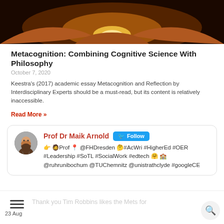[Figure (photo): Dark atmospheric photo of hands cupped together around a glowing golden light, viewed from above]
Metacognition: Combining Cognitive Science With Philosophy
October 7, 2020
Keestra's (2017) academic essay Metacognition and Reflection by Interdisciplinary Experts should be a must-read, but its content is relatively inaccessible.
Read More »
[Figure (screenshot): Twitter profile card for Prof Dr Maik Arnold with Follow button and bio text including hashtags and affiliated institutions]
23 Aug
Thank you Tim Robbins likes the Mets for